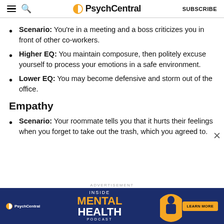PsychCentral | SUBSCRIBE
Scenario: You're in a meeting and a boss criticizes you in front of other co-workers.
Higher EQ: You maintain composure, then politely excuse yourself to process your emotions in a safe environment.
Lower EQ: You may become defensive and storm out of the office.
Empathy
Scenario: Your roommate tells you that it hurts their feelings when you forget to take out the trash, which you agreed to.
[Figure (advertisement): PsychCentral advertisement banner for Inside Mental Health Podcast with Learn More button]